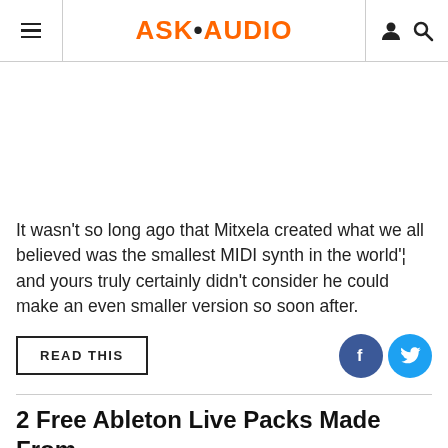ASK·AUDIO
It wasn't so long ago that Mitxela created what we all believed was the smallest MIDI synth in the world'¦ and yours truly certainly didn't consider he could make an even smaller version so soon after.
READ THIS
2 Free Ableton Live Packs Made From